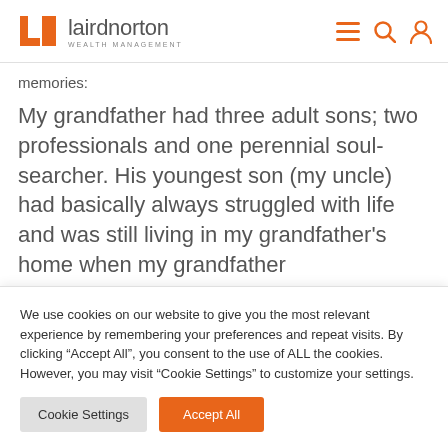[Figure (logo): Laird Norton Wealth Management logo with orange LN icon and gray text]
memories:
My grandfather had three adult sons; two professionals and one perennial soul-searcher. His youngest son (my uncle) had basically always struggled with life and was still living in my grandfather's home when my grandfather
We use cookies on our website to give you the most relevant experience by remembering your preferences and repeat visits. By clicking “Accept All”, you consent to the use of ALL the cookies. However, you may visit "Cookie Settings" to customize your settings.